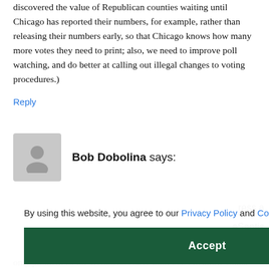discovered the value of Republican counties waiting until Chicago has reported their numbers, for example, rather than releasing their numbers early, so that Chicago knows how many more votes they need to print; also, we need to improve poll watching, and do better at calling out illegal changes to voting procedures.)
Reply
[Figure (illustration): Generic user avatar icon — gray square with person silhouette]
Bob Dobolina says:
By using this website, you agree to our Privacy Policy and Cookie Policy.
Accept
only problem is, the Democrats have until 2024 to allow China